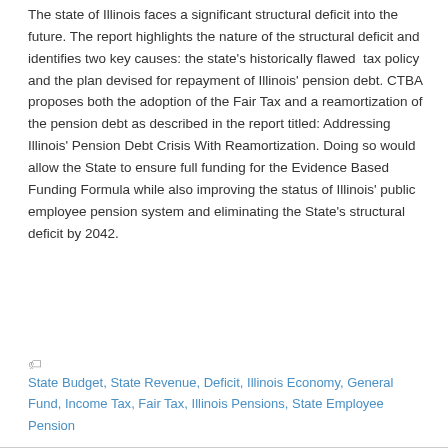The state of Illinois faces a significant structural deficit into the future. The report highlights the nature of the structural deficit and identifies two key causes: the state's historically flawed tax policy and the plan devised for repayment of Illinois' pension debt. CTBA proposes both the adoption of the Fair Tax and a reamortization of the pension debt as described in the report titled: Addressing Illinois' Pension Debt Crisis With Reamortization. Doing so would allow the State to ensure full funding for the Evidence Based Funding Formula while also improving the status of Illinois' public employee pension system and eliminating the State's structural deficit by 2042.
State Budget, State Revenue, Deficit, Illinois Economy, General Fund, Income Tax, Fair Tax, Illinois Pensions, State Employee Pension